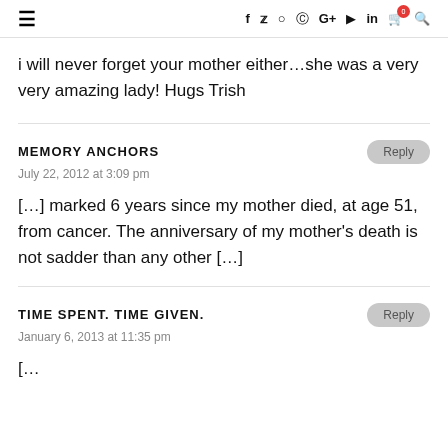≡  f  y  ⊙  ⊕  G+  ▶  in  🛒⁰  🔍
i will never forget your mother either…she was a very very amazing lady! Hugs Trish
MEMORY ANCHORS
July 22, 2012 at 3:09 pm
[…] marked 6 years since my mother died, at age 51, from cancer. The anniversary of my mother's death is not sadder than any other […]
TIME SPENT. TIME GIVEN.
January 6, 2013 at 11:35 pm
[…